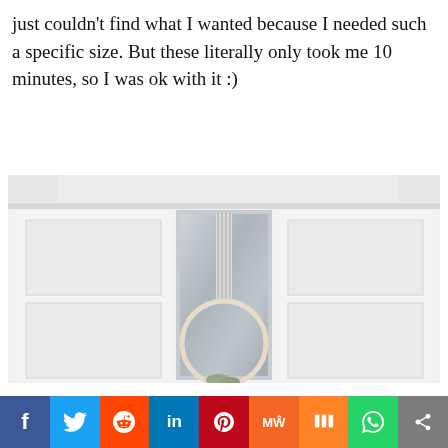just couldn't find what I wanted because I needed such a specific size. But these literally only took me 10 minutes, so I was ok with it :)
[Figure (photo): A white embroidery hoop wreath hanging on a white paneled door, reflected in a rectangular mirror. The wreath has striped ribbon or cord hanging from the top and some greenery at the bottom.]
[Figure (infographic): Social media sharing bar with buttons for Facebook, Twitter, Reddit, LinkedIn, Pinterest, MeWe, Mix, WhatsApp, and Share]